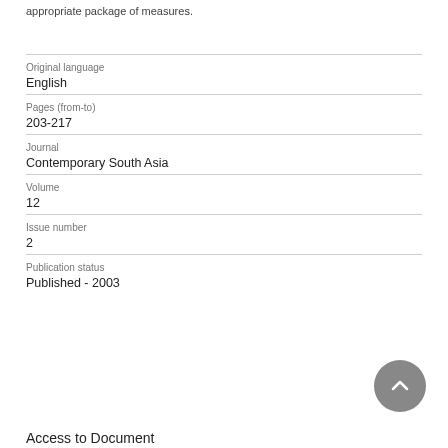appropriate package of measures.
| Original language | English |
| Pages (from-to) | 203-217 |
| Journal | Contemporary South Asia |
| Volume | 12 |
| Issue number | 2 |
| Publication status | Published - 2003 |
Access to Document